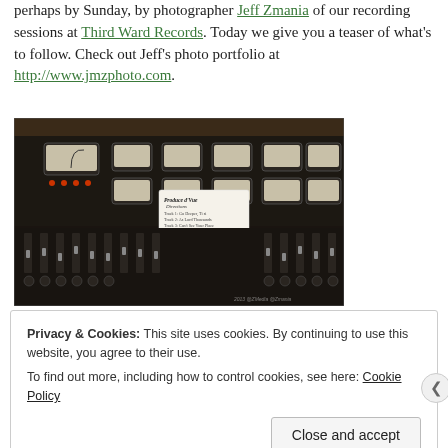perhaps by Sunday, by photographer Jeff Zmania of our recording sessions at Third Ward Records. Today we give you a teaser of what's to follow. Check out Jeff's photo portfolio at http://www.jmzphoto.com.
[Figure (photo): Dark photo of a professional audio mixing console with faders and VU meters. A handwritten setlist/note card is propped up on the console. Watermark visible at bottom right.]
Privacy & Cookies: This site uses cookies. By continuing to use this website, you agree to their use.
To find out more, including how to control cookies, see here: Cookie Policy